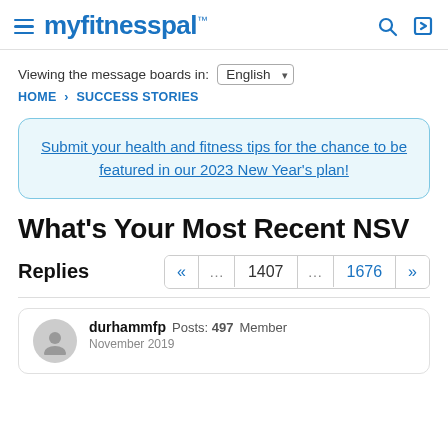myfitnesspal
Viewing the message boards in: English
HOME › SUCCESS STORIES
Submit your health and fitness tips for the chance to be featured in our 2023 New Year's plan!
What's Your Most Recent NSV
Replies  « ... 1407 ... 1676 »
durhammfp  Posts: 497  Member